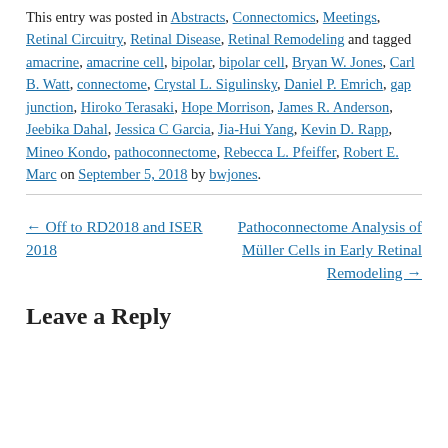This entry was posted in Abstracts, Connectomics, Meetings, Retinal Circuitry, Retinal Disease, Retinal Remodeling and tagged amacrine, amacrine cell, bipolar, bipolar cell, Bryan W. Jones, Carl B. Watt, connectome, Crystal L. Sigulinsky, Daniel P. Emrich, gap junction, Hiroko Terasaki, Hope Morrison, James R. Anderson, Jeebika Dahal, Jessica C Garcia, Jia-Hui Yang, Kevin D. Rapp, Mineo Kondo, pathoconnectome, Rebecca L. Pfeiffer, Robert E. Marc on September 5, 2018 by bwjones.
← Off to RD2018 and ISER 2018
Pathoconnectome Analysis of Müller Cells in Early Retinal Remodeling →
Leave a Reply